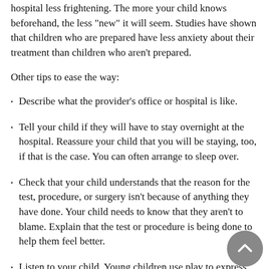hospital less frightening. The more your child knows beforehand, the less "new" it will seem. Studies have shown that children who are prepared have less anxiety about their treatment than children who aren't prepared.
Other tips to ease the way:
Describe what the provider's office or hospital is like.
Tell your child if they will have to stay overnight at the hospital. Reassure your child that you will be staying, too, if that is the case. You can often arrange to sleep over.
Check that your child understands that the reason for the test, procedure, or surgery isn't because of anything they have done. Your child needs to know that they aren't to blame. Explain that the test or procedure is being done to help them feel better.
Listen to your child. Young children use play to express their joys, fears, and all the feelings in between. Stuffed animals, dolls, and other toys...